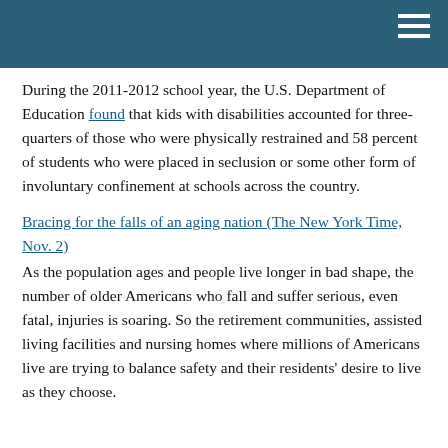During the 2011-2012 school year, the U.S. Department of Education found that kids with disabilities accounted for three-quarters of those who were physically restrained and 58 percent of students who were placed in seclusion or some other form of involuntary confinement at schools across the country.
Bracing for the falls of an aging nation (The New York Time, Nov. 2)
As the population ages and people live longer in bad shape, the number of older Americans who fall and suffer serious, even fatal, injuries is soaring. So the retirement communities, assisted living facilities and nursing homes where millions of Americans live are trying to balance safety and their residents' desire to live as they choose.